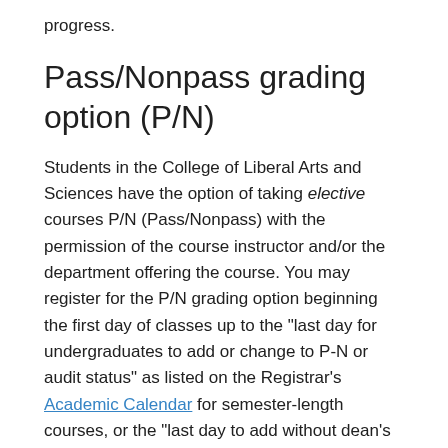progress.
Pass/Nonpass grading option (P/N)
Students in the College of Liberal Arts and Sciences have the option of taking elective courses P/N (Pass/Nonpass) with the permission of the course instructor and/or the department offering the course. You may register for the P/N grading option beginning the first day of classes up to the "last day for undergraduates to add or change to P-N or audit status" as listed on the Registrar's Academic Calendar for semester-length courses, or the "last day to add without dean's approval" listed on the Course Deadlines page for an individual course.